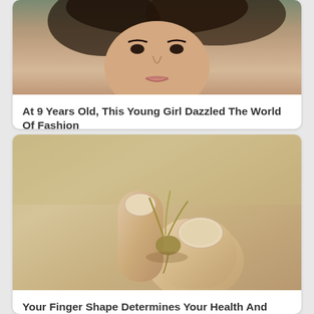[Figure (photo): Photo of a young woman's face with dark hair, cropped to show upper portion]
At 9 Years Old, This Young Girl Dazzled The World Of Fashion
Herbeauty
[Figure (photo): Close-up photo of fingers holding a small germinated seed or plant sprout]
Your Finger Shape Determines Your Health And Personality
Herbeauty